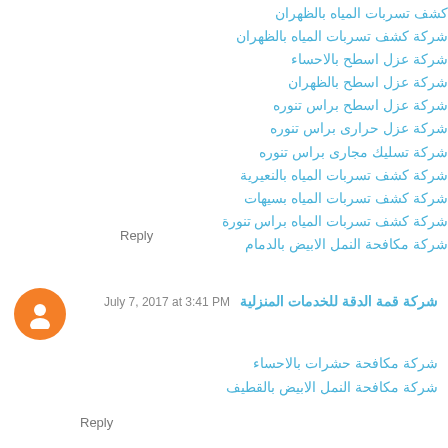كشف تسربات المياه بالظهران
شركة كشف تسربات المياه بالظهران
شركة عزل اسطح بالاحساء
شركة عزل اسطح بالظهران
شركة عزل اسطح براس تنوره
شركة عزل حرارى براس تنوره
شركة تسليك مجارى براس تنوره
شركة كشف تسربات المياه بالنعيرية
شركة كشف تسربات المياه بسيهات
شركة كشف تسربات المياه براس تنورة
شركة مكافحة النمل الابيض بالدمام
Reply
شركة قمة الدقة للخدمات المنزلية  July 7, 2017 at 3:41 PM
شركة مكافحة حشرات بالاحساء
شركة مكافحة النمل الابيض بالقطيف
Reply